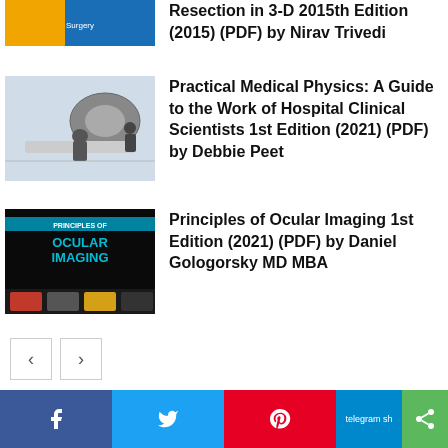Resection in 3-D 2015th Edition (2015) (PDF) by Nirav Trivedi
[Figure (photo): Medical radiation therapy machine with patient table, clinical setting]
Practical Medical Physics: A Guide to the Work of Hospital Clinical Scientists 1st Edition (2021) (PDF) by Debbie Peet
[Figure (photo): Principles of Ocular Imaging book cover - dark background with cyan/teal text]
Principles of Ocular Imaging 1st Edition (2021) (PDF) by Daniel Gologorsky MD MBA